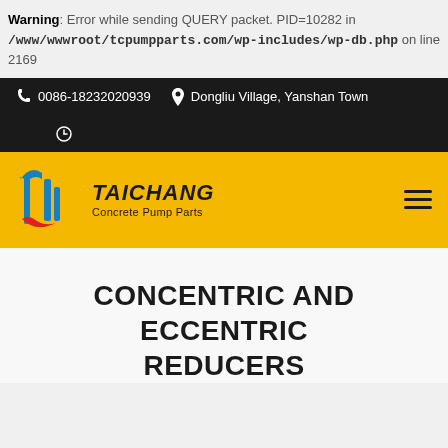Warning: Error while sending QUERY packet. PID=10282 in /www/wwwroot/tcpumpparts.com/wp-includes/wp-db.php on line 2169
0086-18232020939 | Dongliu Village, Yanshan Town
[Figure (logo): Taichang Concrete Pump Parts logo on yellow background with hamburger menu icon]
CONCENTRIC AND ECCENTRIC REDUCERS